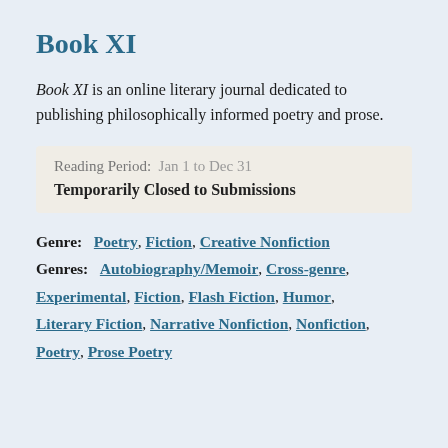Book XI
Book XI is an online literary journal dedicated to publishing philosophically informed poetry and prose.
Reading Period: Jan 1 to Dec 31
Temporarily Closed to Submissions
Genre: Poetry, Fiction, Creative Nonfiction
Genres: Autobiography/Memoir, Cross-genre, Experimental, Fiction, Flash Fiction, Humor, Literary Fiction, Narrative Nonfiction, Nonfiction, Poetry, Prose Poetry